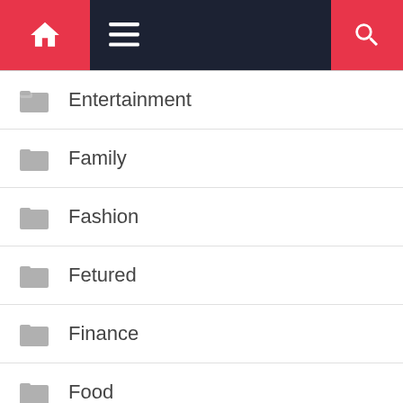Navigation bar with home, menu, and search icons
Entertainment
Family
Fashion
Fetured
Finance
Food
Furniture
Game
Health